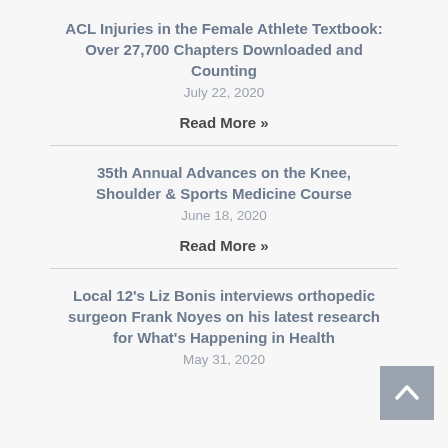ACL Injuries in the Female Athlete Textbook: Over 27,700 Chapters Downloaded and Counting
July 22, 2020
Read More »
35th Annual Advances on the Knee, Shoulder & Sports Medicine Course
June 18, 2020
Read More »
Local 12's Liz Bonis interviews orthopedic surgeon Frank Noyes on his latest research for What's Happening in Health
May 31, 2020